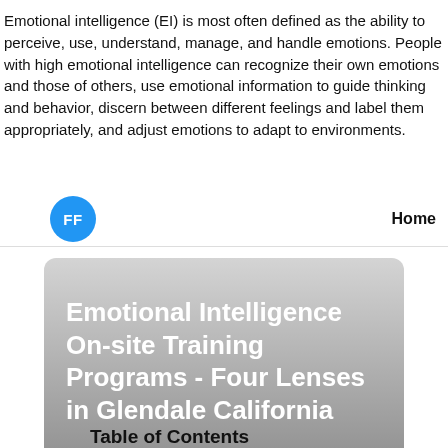Emotional intelligence (EI) is most often defined as the ability to perceive, use, understand, manage, and handle emotions. People with high emotional intelligence can recognize their own emotions and those of others, use emotional information to guide thinking and behavior, discern between different feelings and label them appropriately, and adjust emotions to adapt to environments.
[Figure (other): Navigation bar with blue circle avatar showing 'FF' initials on the left and 'Home' text link on the right, separated by a horizontal rule]
[Figure (other): Article card with gradient gray background showing title 'Emotional Intelligence On-site Training Programs - Four Lenses in Glendale California' in white bold text, with metadata 'Published Feb 26, 22 | 5 min read' below]
Table of Contents